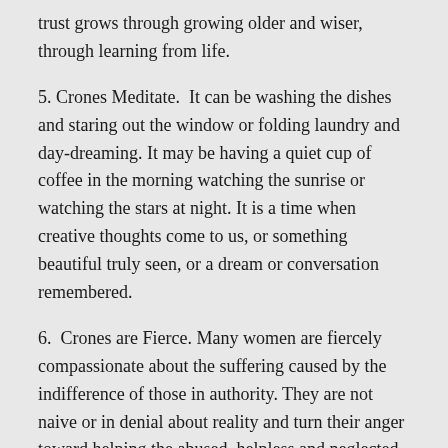trust grows through growing older and wiser, through learning from life.
5. Crones Meditate.  It can be washing the dishes and staring out the window or folding laundry and day-dreaming. It may be having a quiet cup of coffee in the morning watching the sunrise or watching the stars at night. It is a time when creative thoughts come to us, or something beautiful truly seen, or a dream or conversation remembered.
6.  Crones are Fierce. Many women are fiercely compassionate about the suffering caused by the indifference of those in authority. They are not naive or in denial about reality and turn their anger toward helping the abused, helpless and neglected.